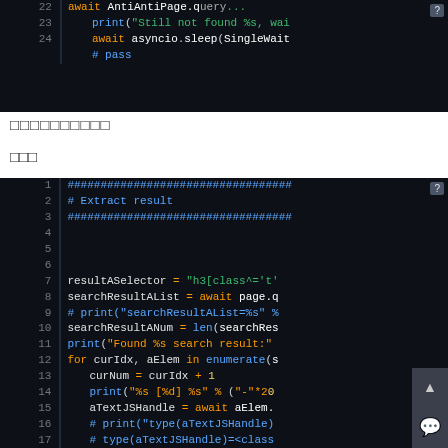[Figure (screenshot): Code editor screenshot showing Python code lines 22-24 with print and await asyncio.sleep statements on dark background]
□□□□□□□□□□
□□□
[Figure (screenshot): Code editor screenshot showing Python code lines 1-18 with result extraction code including resultASelector, searchResultAList, searchResultANum, for loop, curNum, aTextJSHandle variables on dark background]